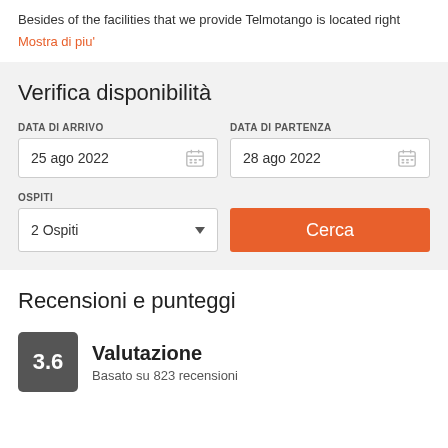Besides of the facilities that we provide Telmotango is located right
Mostra di piu'
Verifica disponibilità
DATA DI ARRIVO
25 ago 2022
DATA DI PARTENZA
28 ago 2022
OSPITI
2 Ospiti
Cerca
Recensioni e punteggi
3.6
Valutazione
Basato su 823 recensioni